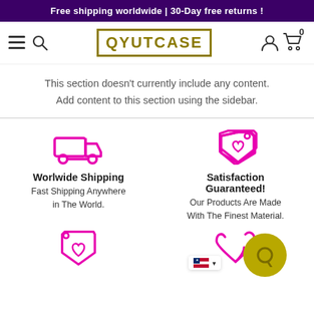Free shipping worldwide | 30-Day free returns !
[Figure (logo): QYUTCASE logo with olive/gold border, hamburger menu, search icon, user icon, and cart icon with badge 0]
This section doesn't currently include any content. Add content to this section using the sidebar.
[Figure (illustration): Magenta/pink truck delivery icon]
Worlwide Shipping
Fast Shipping Anywhere in The World.
[Figure (illustration): Magenta/pink price tag with heart icon]
Satisfaction Guaranteed!
Our Products Are Made With The Finest Material.
[Figure (illustration): Magenta/pink price tag with heart icon (bottom left)]
[Figure (illustration): Magenta/pink heart/hand icon (bottom right), Liberian flag selector widget, and dark olive chat bubble]